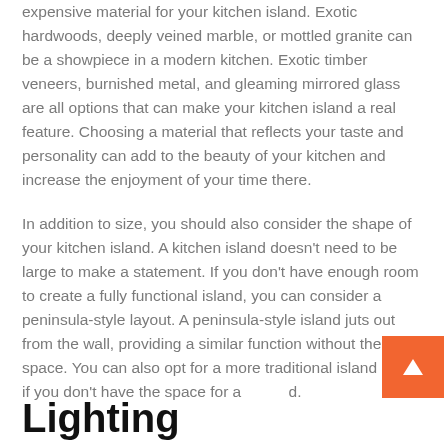expensive material for your kitchen island. Exotic hardwoods, deeply veined marble, or mottled granite can be a showpiece in a modern kitchen. Exotic timber veneers, burnished metal, and gleaming mirrored glass are all options that can make your kitchen island a real feature. Choosing a material that reflects your taste and personality can add to the beauty of your kitchen and increase the enjoyment of your time there.
In addition to size, you should also consider the shape of your kitchen island. A kitchen island doesn't need to be large to make a statement. If you don't have enough room to create a fully functional island, you can consider a peninsula-style layout. A peninsula-style island juts out from the wall, providing a similar function without the open space. You can also opt for a more traditional island layout if you don't have the space for a island.
Lighting